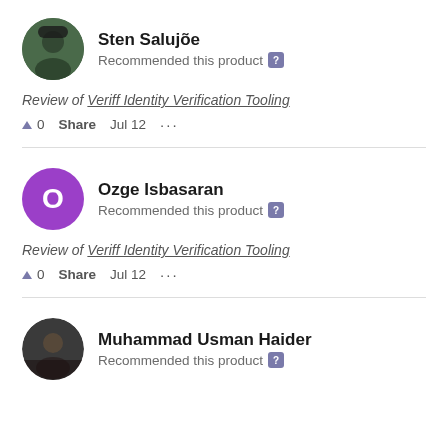Sten Salujõe — Recommended this product
Review of Veriff Identity Verification Tooling
▲ 0   Share   Jul 12   •••
Ozge Isbasaran — Recommended this product
Review of Veriff Identity Verification Tooling
▲ 0   Share   Jul 12   •••
Muhammad Usman Haider — Recommended this product